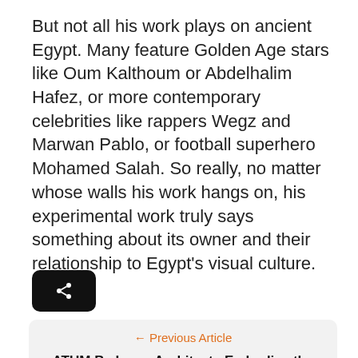But not all his work plays on ancient Egypt. Many feature Golden Age stars like Oum Kalthoum or Abdelhalim Hafez, or more contemporary celebrities like rappers Wegz and Marwan Pablo, or football superhero Mohamed Salah. So really, no matter whose walls his work hangs on, his experimental work truly says something about its owner and their relationship to Egypt's visual culture.
[Figure (other): Black rounded rectangle share button with a share icon (branching nodes symbol) in white]
[Figure (infographic): Navigation box with light gray background showing '← Previous Article' link in orange and bold article title 'ATUM By Imam Architects Embodies the Heights Above the Giza Pyramids' in black, with an orange circular scroll-to-top button on the right]